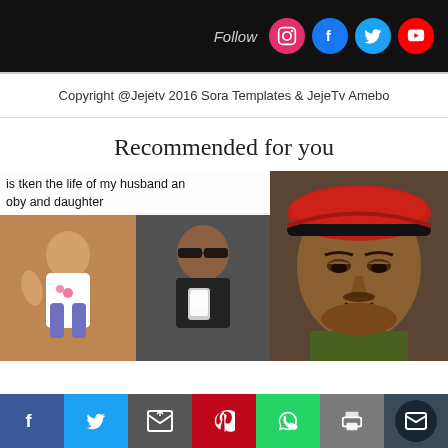Follow (Instagram, Facebook, Twitter, YouTube)
Copyright @Jejetv 2016 Sora Templates & JejeTv Amebo
Recommended for you
[Figure (photo): Left thumbnail: text overlay 'is tken the life of my husband and oby and daughter' with two photos below — a child and a man]
[Figure (photo): Right thumbnail: close-up photo of a man wearing a red military beret and green uniform]
[Figure (infographic): Bottom social share bar with Facebook, Twitter, Email, Pinterest, WhatsApp, Print, and Mail buttons]